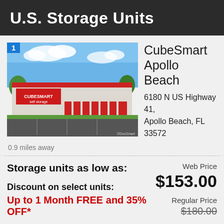U.S. Storage Units
[Figure (photo): CubeSmart self storage facility building exterior with red doors and parking lot. Badge '1' in top left corner. Copyright watermark visible.]
CubeSmart Apollo Beach
6180 N US Highway 41, Apollo Beach, FL  33572
0.9 miles away
Storage units as low as:
Web Price
$153.00
Discount on select units:
Up to 1 Month FREE and 35% OFF*
Regular Price
$180.00